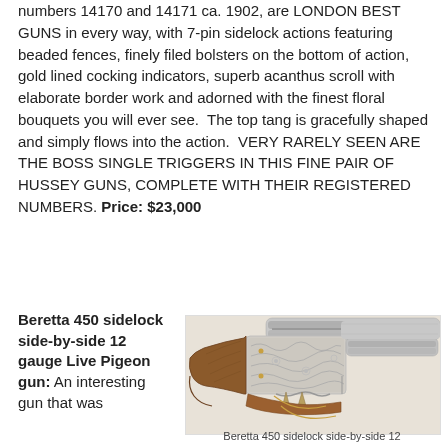numbers 14170 and 14171 ca. 1902, are LONDON BEST GUNS in every way, with 7-pin sidelock actions featuring beaded fences, finely filed bolsters on the bottom of action, gold lined cocking indicators, superb acanthus scroll with elaborate border work and adorned with the finest floral bouquets you will ever see.  The top tang is gracefully shaped and simply flows into the action.  VERY RARELY SEEN ARE THE BOSS SINGLE TRIGGERS IN THIS FINE PAIR OF HUSSEY GUNS, COMPLETE WITH THEIR REGISTERED NUMBERS. Price: $23,000
Beretta 450 sidelock side-by-side 12 gauge Live Pigeon gun: An interesting gun that was
[Figure (photo): Beretta 450 sidelock side-by-side 12 gauge shotgun, showing engraved silver action with ornate scroll work, walnut stock, and double triggers]
Beretta 450 sidelock side-by-side 12